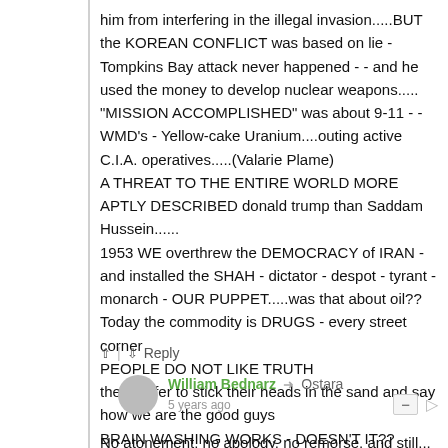him from interfering in the illegal invasion.....BUT the KOREAN CONFLICT was based on lie - Tompkins Bay attack never happened - - and he used the money to develop nuclear weapons..... "MISSION ACCOMPLISHED" was about 9-11 - -WMD's - Yellow-cake Uranium....outing active C.I.A. operatives.....(Valarie Plame)
A THREAT TO THE ENTIRE WORLD MORE APTLY DESCRIBED donald trump than Saddam Hussein......
1953 WE overthrew the DEMOCRACY of IRAN -and installed the SHAH - dictator - despot - tyrant - monarch - OUR PUPPET.....was that about oil??
Today the commodity is DRUGS - every street corner
PEOPLE DO NOT LIKE TRUTH
they prefer to stick their heads in the sand and say how we are the good guys
BRAIN WASHING WORKS - DOESN'T IT??
PROPAGANDA....
Reply
William Bednarz → Ostara
5 years ago
No atonement, no apology, no remorse, and still...